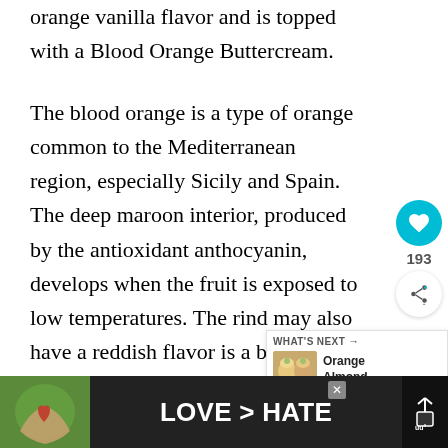orange vanilla flavor and is topped with a Blood Orange Buttercream.
The blood orange is a type of orange common to the Mediterranean region, especially Sicily and Spain. The deep maroon interior, produced by the antioxidant anthocyanin, develops when the fruit is exposed to low temperatures. The rind may also have a reddish flavor is a bit more tart compared to other o
[Figure (screenshot): Social media UI: heart/like button (teal circle with heart icon), count 193, share button]
[Figure (infographic): What's Next panel showing Orange Almond... with a thumbnail image of muffins/cupcakes]
[Figure (photo): Advertisement banner: photo of hands making heart shape, text LOVE > HATE, close button X, logo with antenna symbol]